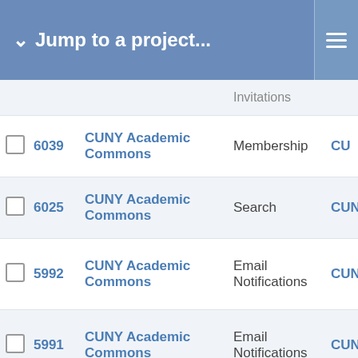Jump to a project...
|  | ID | Project | Category |  |
| --- | --- | --- | --- | --- |
|  |  |  | Invitations |  |
| ☐ | 6039 | CUNY Academic Commons | Membership | CU |
| ☐ | 6025 | CUNY Academic Commons | Search | CUN |
| ☐ | 5992 | CUNY Academic Commons | Email Notifications | CUNY |
| ☐ | 5991 | CUNY Academic Commons | Email Notifications | CUNY |
| ☐ | 5988 | CUNY Academic Commons | Support |  |
| ☐ | 5985 | CUNY Academic Commons | Support | CUN |